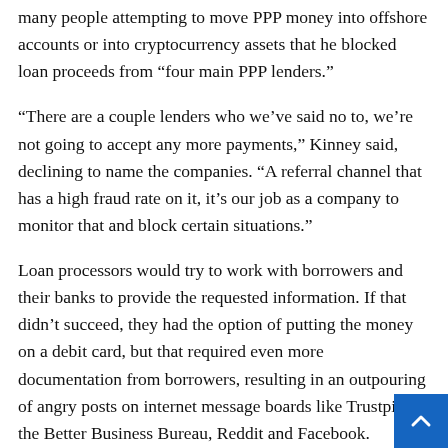many people attempting to move PPP money into offshore accounts or into cryptocurrency assets that he blocked loan proceeds from “four main PPP lenders.”
“There are a couple lenders who we’ve said no to, we’re not going to accept any more payments,” Kinney said, declining to name the companies. “A referral channel that has a high fraud rate on it, it’s our job as a company to monitor that and block certain situations.”
Loan processors would try to work with borrowers and their banks to provide the requested information. If that didn’t succeed, they had the option of putting the money on a debit card, but that required even more documentation from borrowers, resulting in an outpouring of angry posts on internet message boards like Trustpilot, the Better Business Bureau, Reddit and Facebook.